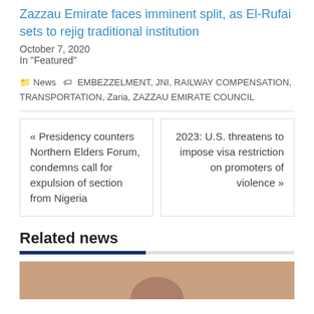Zazzau Emirate faces imminent split, as El-Rufai sets to rejig traditional institution
October 7, 2020
In "Featured"
News  EMBEZZELMENT, JNI, RAILWAY COMPENSATION, TRANSPORTATION, Zaria, ZAZZAU EMIRATE COUNCIL
« Presidency counters Northern Elders Forum, condemns call for expulsion of section from Nigeria
2023: U.S. threatens to impose visa restriction on promoters of violence »
Related news
[Figure (photo): Partial image thumbnail at the bottom of the page, reddish/brownish tones]